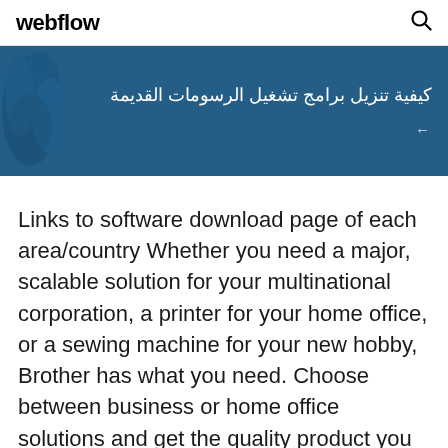webflow
[Figure (illustration): Blue banner with Arabic text reading 'كيفية تنزيل برامج تشغيل الرسومات القديمة' and a bird/logo graphic on the left side]
Links to software download page of each area/country Whether you need a major, scalable solution for your multinational corporation, a printer for your home office, or a sewing machine for your new hobby, Brother has what you need. Choose between business or home office solutions and get the quality product you need. Brother is at